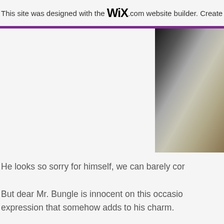This site was designed with the WiX.com website builder. Create yo
[Figure (photo): A blurred or soft-focus photograph showing dark tones at top transitioning to warm beige/tan tones at bottom, occupying the upper right portion of the page.]
He looks so sorry for himself, we can barely cor
But dear Mr. Bungle is innocent on this occasio expression that somehow adds to his charm.
With characters like this to meet on your adven
As nature lovers who are constantly on the mo